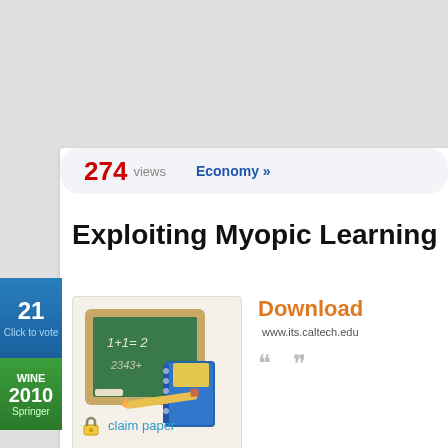274 views   Economy »
Exploiting Myopic Learning
21
Click to vote
WINE
2010
Springer
[Figure (illustration): Chalkboard with math equations and a blue notebook illustration]
Download www.its.caltech.edu
« »
claim paper